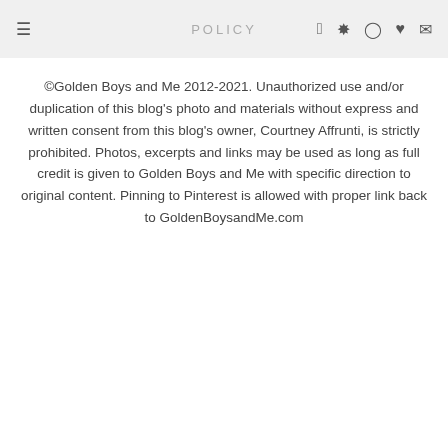POLICY
©Golden Boys and Me 2012-2021. Unauthorized use and/or duplication of this blog's photo and materials without express and written consent from this blog's owner, Courtney Affrunti, is strictly prohibited. Photos, excerpts and links may be used as long as full credit is given to Golden Boys and Me with specific direction to original content. Pinning to Pinterest is allowed with proper link back to GoldenBoysandMe.com